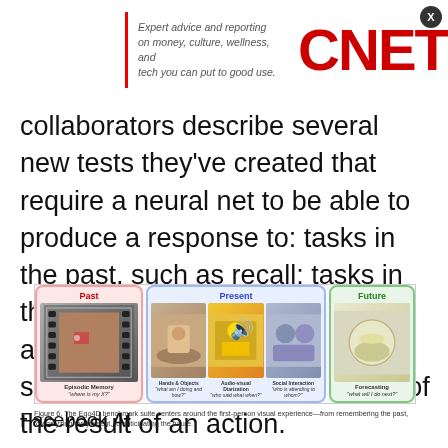[Figure (screenshot): CNET advertisement banner with tagline 'Expert advice and reporting on money, culture, wellness, and tech you can put to good use.' and CNET logo in red]
collaborators describe several new tests they've created that require a neural net to be able to produce a response to: tasks in the past, such as recall; tasks in the present, such as categorizing an activity; or future forecasting, such as producing a description of the result of an action.
[Figure (infographic): Figure 6. The Ego4D benchmark suite centers around the first-person visual experience showing three panels: Past (Episodic Memory 'where is my X?'), Present (Hands & Objects 'what am I doing and how?', Audio-visual Diarization 'who said what when?', Social Interaction 'who is attending to whom?'), and Future (Forecasting 'what will I do next?')]
Figure 6. The Ego4D benchmark suite centers around the first-person visual experience—from remembering the past, to analyzing the present, to anticipating the future.
Facebook AI